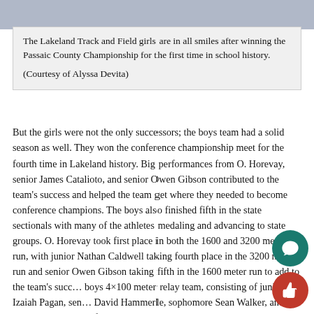[Figure (photo): Photo strip at top showing Lakeland Track and Field girls team]
The Lakeland Track and Field girls are in all smiles after winning the Passaic County Championship for the first time in school history.

(Courtesy of Alyssa Devita)
But the girls were not the only successors; the boys team had a solid season as well. They won the conference championship meet for the fourth time in Lakeland history. Big performances from O. Horevay, senior James Catalioto, and senior Owen Gibson contributed to the team's success and helped the team get where they needed to become conference champions. The boys also finished fifth in the state sectionals with many of the athletes medaling and advancing to state groups. O. Horevay took first place in both the 1600 and 3200 meter run, with junior Nathan Caldwell taking fourth place in the 3200 meter run and senior Owen Gibson taking fifth in the 1600 meter run to add to the team's success. The boys 4×100 meter relay team, consisting of junior Izaiah Pagan, senior David Hammerle, sophomore Sean Walker, and senior Lucas Hebner, finished strong in third place.